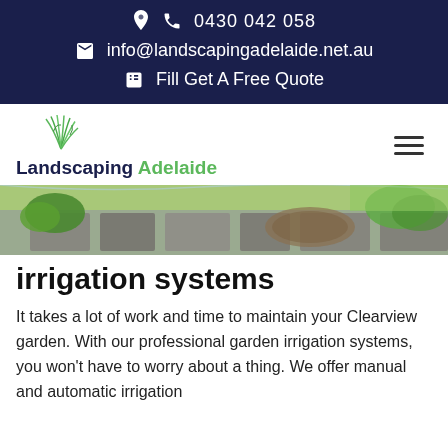0430 042 058
info@landscapingadelaide.net.au
Fill Get A Free Quote
[Figure (logo): Landscaping Adelaide logo with green leaf graphic and text 'Landscaping Adelaide']
[Figure (photo): Outdoor garden with stone paving, irrigation system visible, green plants]
irrigation systems
It takes a lot of work and time to maintain your Clearview garden. With our professional garden irrigation systems, you won't have to worry about a thing. We offer manual and automatic irrigation